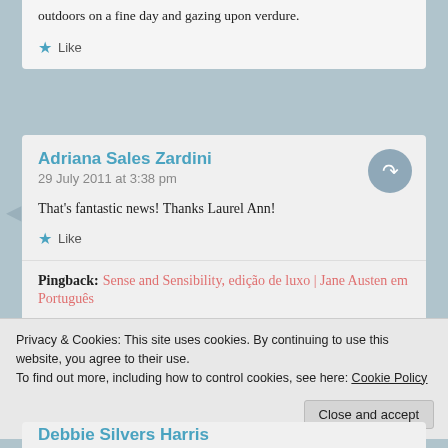outdoors on a fine day and gazing upon verdure.
Like
Adriana Sales Zardini
29 July 2011 at 3:38 pm
That's fantastic news! Thanks Laurel Ann!
Like
Pingback: Sense and Sensibility, edição de luxo | Jane Austen em Português
Privacy & Cookies: This site uses cookies. By continuing to use this website, you agree to their use.
To find out more, including how to control cookies, see here: Cookie Policy
Close and accept
Debbie Silvers Harris